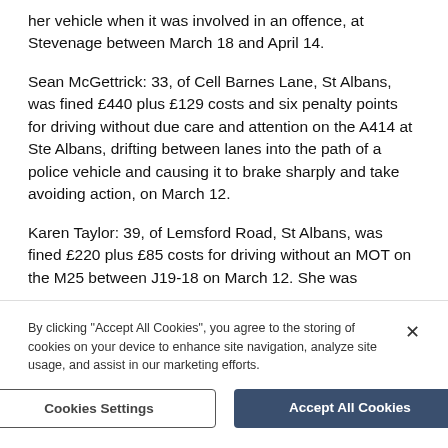her vehicle when it was involved in an offence, at Stevenage between March 18 and April 14.
Sean McGettrick: 33, of Cell Barnes Lane, St Albans, was fined £440 plus £129 costs and six penalty points for driving without due care and attention on the A414 at Ste Albans, drifting between lanes into the path of a police vehicle and causing it to brake sharply and take avoiding action, on March 12.
Karen Taylor: 39, of Lemsford Road, St Albans, was fined £220 plus £85 costs for driving without an MOT on the M25 between J19-18 on March 12. She was
By clicking "Accept All Cookies", you agree to the storing of cookies on your device to enhance site navigation, analyze site usage, and assist in our marketing efforts.
Cookies Settings
Accept All Cookies